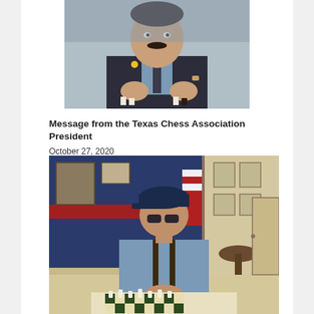[Figure (photo): An older man in a dark suit with a yellow pin and tie, leaning over a chess board with chess pieces, appearing to make a move.]
Message from the Texas Chess Association President
October 27, 2020
[Figure (photo): An older person wearing a dark cap, glasses, and a denim jacket, seated behind a chess board with white chess pieces arranged on it, inside a room with an American flag and framed photos in the background.]